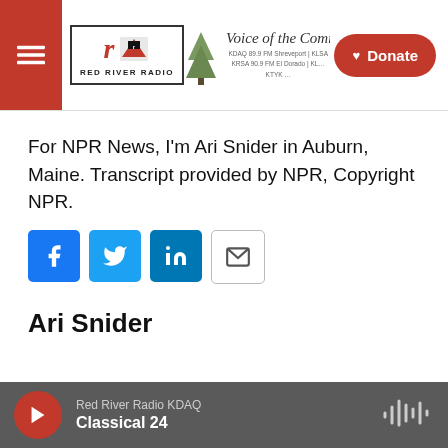Red River Radio — Voice of the Community — Donate
For NPR News, I'm Ari Snider in Auburn, Maine. Transcript provided by NPR, Copyright NPR.
[Figure (infographic): Social share buttons: Facebook, Twitter, LinkedIn, Email]
Ari Snider
Red River Radio KDAQ — Classical 24